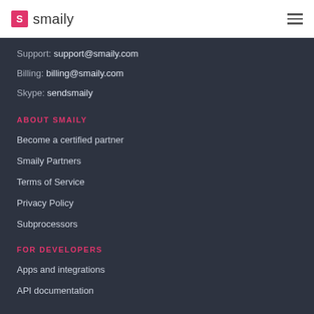smaily
Support: support@smaily.com
Billing: billing@smaily.com
Skype: sendsmaily
ABOUT SMAILY
Become a certified partner
Smaily Partners
Terms of Service
Privacy Policy
Subprocessors
FOR DEVELOPERS
Apps and integrations
API documentation